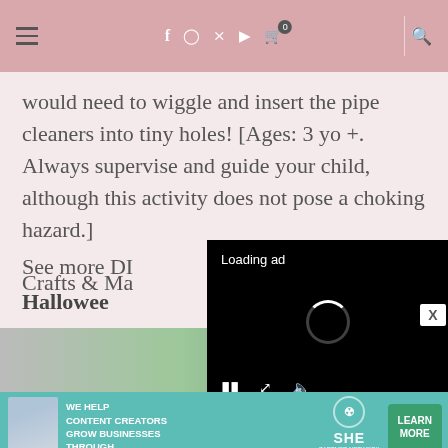Navigation bar with hamburger menu, social icons (Facebook, Instagram, Pinterest, YouTube), cart (0), and search
would need to wiggle and insert the pipe cleaners into tiny holes! [Ages: 3 yo +. Always supervise and guide your child, although this activity does not pose a choking hazard.]
See more DIY Crafts & Ma...
Hallowee...
[Figure (screenshot): Loading ad video overlay with black background, loading spinner, pause button, expand button, and mute button]
[Figure (photo): Partial image strip at bottom showing a Halloween craft image with greenery]
[Figure (infographic): SHE Partner Network advertisement banner: 'We help content creators grow businesses through...' with Learn More button]